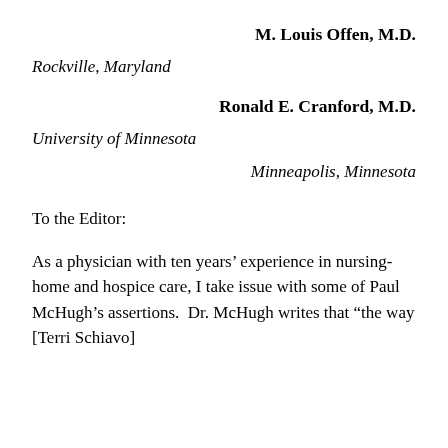M. Louis Offen, M.D.
Rockville, Maryland
Ronald E. Cranford, M.D.
University of Minnesota
Minneapolis, Minnesota
To the Editor:
As a physician with ten years’ experience in nursing-home and hospice care, I take issue with some of Paul McHugh’s assertions. Dr. McHugh writes that “the way [Terri Schiavo]